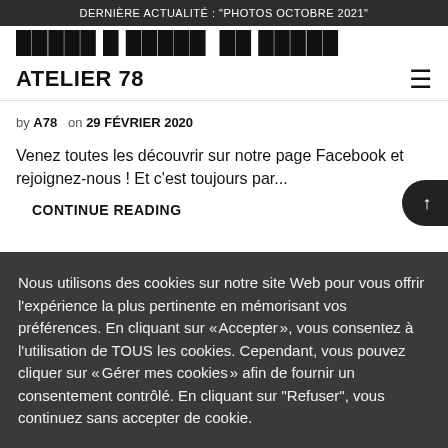DERNIÈRE ACTUALITÉ : "PHOTOS OCTOBRE 2021"
ATELIER 78
by A78 on 29 FÉVRIER 2020
Venez toutes les découvrir sur notre page Facebook et rejoignez-nous ! Et c'est toujours par...
CONTINUE READING
Nous utilisons des cookies sur notre site Web pour vous offrir l'expérience la plus pertinente en mémorisant vos préférences. En cliquant sur « Accepter », vous consentez à l'utilisation de TOUS les cookies. Cependant, vous pouvez cliquer sur « Gérer mes cookies » afin de fournir un consentement contrôlé. En cliquant sur "Refuser", vous continuez sans accepter de cookie.